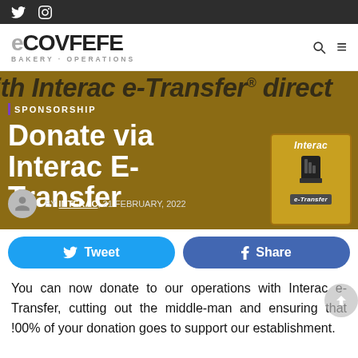Twitter and Instagram icon links
COVFEFE BAKERY · OPERATIONS
ith Interac e-Transfer® direct
SPONSORSHIP
Donate via Interac E-Transfer
[Figure (logo): Interac e-Transfer logo — gold background with stylized hand and text]
BY INTERAC, 21 FEBRUARY, 2022
Tweet   Share
You can now donate to our operations with Interac e-Transfer, cutting out the middle-man and ensuring that !00% of your donation goes to support our establishment.